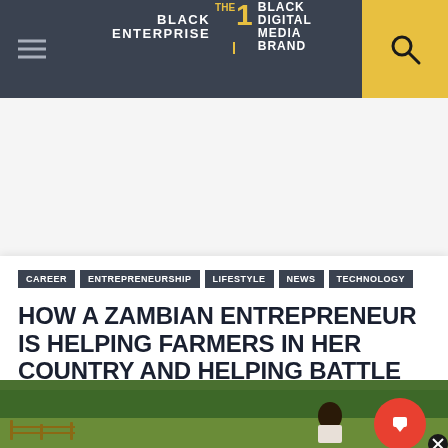BLACK ENTERPRISE — THE #1 BLACK DIGITAL MEDIA BRAND
CAREER
ENTREPRENEURSHIP
LIFESTYLE
NEWS
TECHNOLOGY
HOW A ZAMBIAN ENTREPRENEUR IS HELPING FARMERS IN HER COUNTRY AND HELPING BATTLE CLIMATE CHANGE
[Figure (photo): A person working in a farm field with green trees in the background, a rural African farming scene]